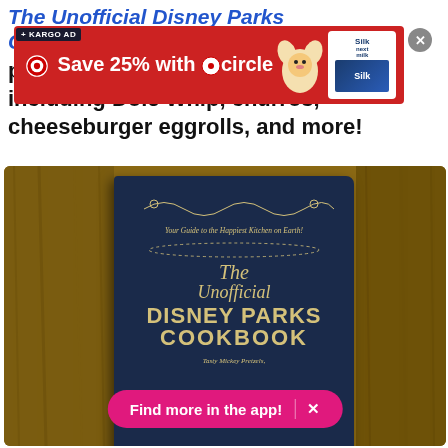The Unofficial Disney Parks Cookbook features your favorite park recipes, including Dole Whip, churros, cheeseburger eggrolls, and more!
[Figure (photo): A photo of 'The Unofficial Disney Parks Cookbook' book cover lying on a wooden surface. The book has a dark navy blue cover with gold ornamental lettering. An advertisement banner overlays the top portion showing 'Save 25% with Target circle' with a Silk milk product image. A pink 'Find more in the app!' button overlays the bottom.]